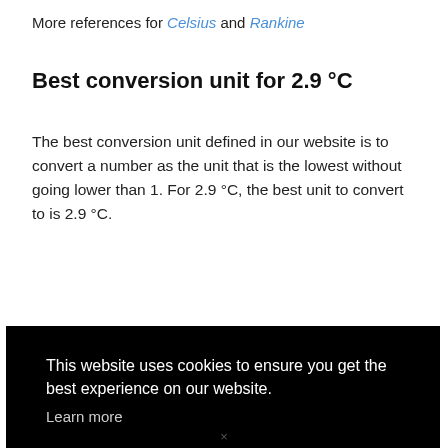More references for Celsius and Rankine
Best conversion unit for 2.9 °C
The best conversion unit defined in our website is to convert a number as the unit that is the lowest without going lower than 1. For 2.9 °C, the best unit to convert to is 2.9 °C.
This website uses cookies to ensure you get the best experience on our website.
Learn more